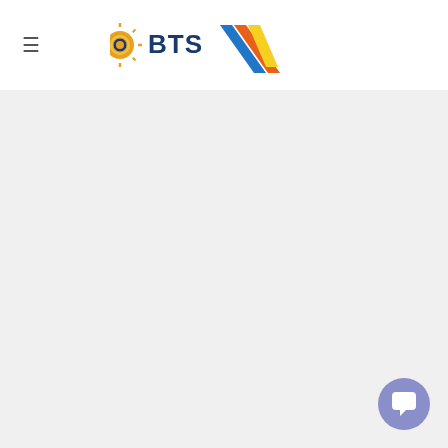[Figure (logo): BTS logo with sun icon and colored diagonal stripes]
Copyright © 2022 Become the Source. All Rights Reserved. Powered by JA Magz - Designed by JoomlArt.com.
Joomla! is Free Software released under the GNU General Public License.
Desktop Version